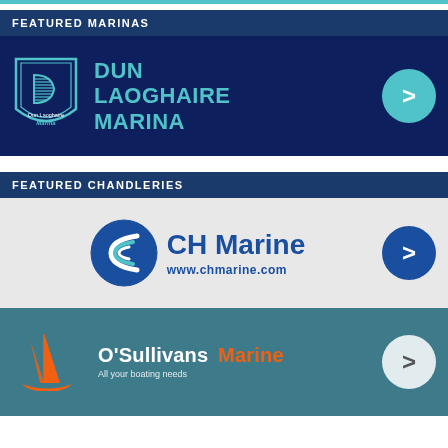FEATURED MARINAS
[Figure (logo): Dun Laoghaire Marina banner with logo and cyan arrow button on dark navy background]
FEATURED CHANDLERIES
[Figure (logo): CH Marine logo with circular wave icon and www.chmarine.com URL on light grey background with blue arrow button]
[Figure (logo): O'Sullivans Marine logo with orange sail icon on teal/dark teal background with white circle arrow button. Tagline: All your boating needs]